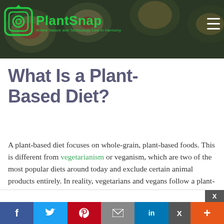[Figure (photo): Header banner with food bowls in background, PlantSnap logo with green camera icon, tagline 'Where Nature and Technology Live in Harmony', and hamburger menu icon on the right]
What Is a Plant-Based Diet?
A plant-based diet focuses on whole-grain, plant-based foods. This is different from vegetarianism or veganism, which are two of the most popular diets around today and exclude certain animal products entirely. In reality, vegetarians and vegans follow a plant-based diet, but they
f  Twitter  Pinterest  Email  in  X  +